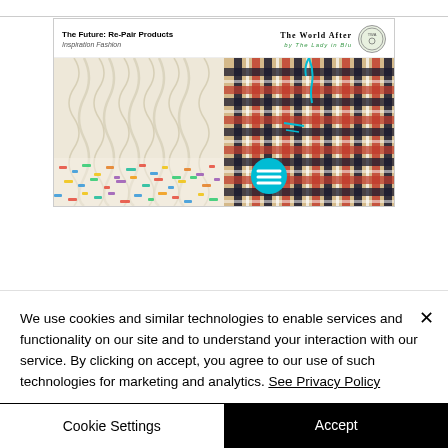[Figure (screenshot): Blog card preview showing 'The Future: Re-Pair Products' / 'Inspiration Fashion' on the left and 'The World After by The Lady in Blu' with logo on the right, and two fabric images below — a cable knit with colorful darning on the left and a plaid tartan fabric with teal thread on the right. A teal circular menu icon overlays the right image.]
We use cookies and similar technologies to enable services and functionality on our site and to understand your interaction with our service. By clicking on accept, you agree to our use of such technologies for marketing and analytics. See Privacy Policy
Cookie Settings
Accept